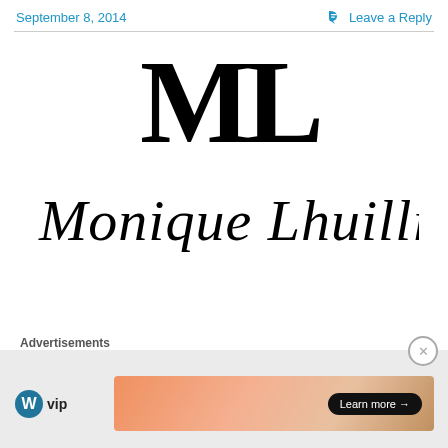September 8, 2014
Leave a Reply
[Figure (logo): Monique Lhuillier brand logo featuring large serif ML monogram letters and cursive script brand name]
Advertisements
[Figure (logo): WordPress VIP logo with WP circle icon and 'vip' text]
[Figure (other): Advertisement banner with gradient peach/orange background and Learn more button]